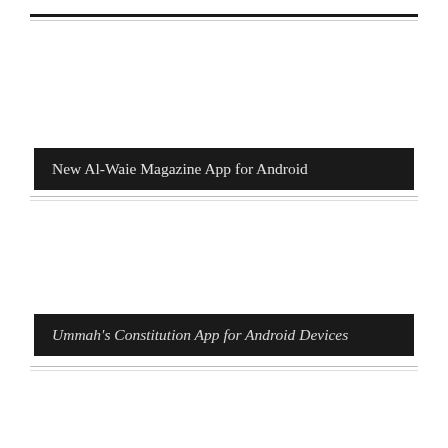New Al-Waie Magazine App for Android
Ummah's Constitution App for Android Devices